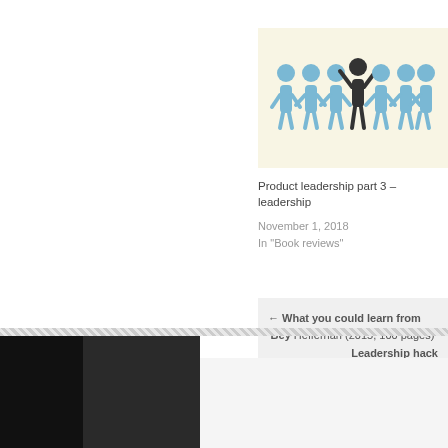[Figure (illustration): Group of blue people icons with one dark center figure raising arms, on a pale yellow background]
Product leadership part 3 – leadership
November 1, 2018
In "Book reviews"
← What you could learn from 'Bey Heffernan (2015, 100 pages)
Leadership hack